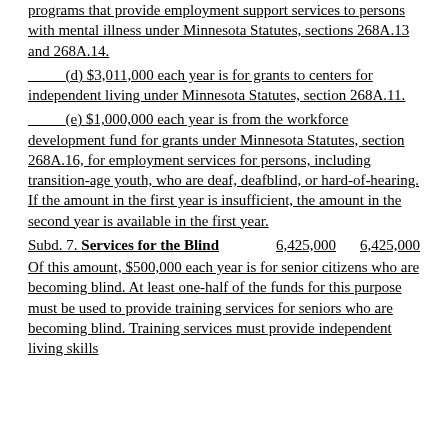programs that provide employment support services to persons with mental illness under Minnesota Statutes, sections 268A.13 and 268A.14.
(d) $3,011,000 each year is for grants to centers for independent living under Minnesota Statutes, section 268A.11.
(e) $1,000,000 each year is from the workforce development fund for grants under Minnesota Statutes, section 268A.16, for employment services for persons, including transition-age youth, who are deaf, deafblind, or hard-of-hearing. If the amount in the first year is insufficient, the amount in the second year is available in the first year.
Subd. 7. Services for the Blind    6,425,000    6,425,000
Of this amount, $500,000 each year is for senior citizens who are becoming blind. At least one-half of the funds for this purpose must be used to provide training services for seniors who are becoming blind. Training services must provide independent living skills